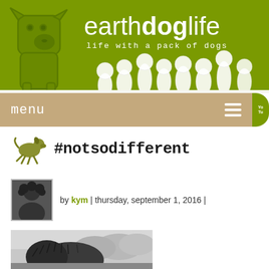[Figure (logo): Earthdoglife website header banner with green background, site title 'earthdoglife', tagline 'life with a pack of dogs', illustrated dogs across the bottom, and a line art dog logo on the left]
menu
#notsodifferent
by kym | thursday, september 1, 2016 |
[Figure (photo): Black and white photograph of a large shaggy dog outdoors with trees in the background]